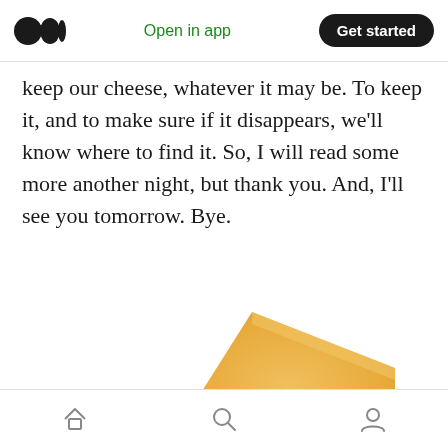Medium app navigation bar with logo, Open in app, Get started
keep our cheese, whatever it may be. To keep it, and to make sure if it disappears, we'll know where to find it. So, I will read some more another night, but thank you. And, I'll see you tomorrow. Bye.
[Figure (photo): A wedge of yellow cheese with small holes, photographed against a white background, partially cropped at the bottom of the page.]
Mobile bottom navigation bar with home, search, and profile icons